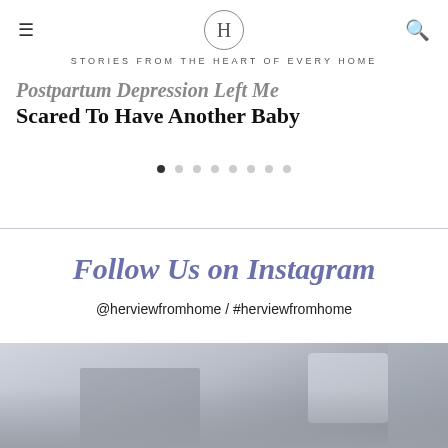H — STORIES FROM THE HEART OF EVERY HOME
Postpartum Depression Left Me Scared To Have Another Baby
● ○ ○ ○ ○ ○ ○ ○
Follow Us on Instagram
@herviewfromhome / #herviewfromhome
[Figure (photo): Photo of a person in a vehicle, partially visible, gray-toned image cropped at bottom of page]